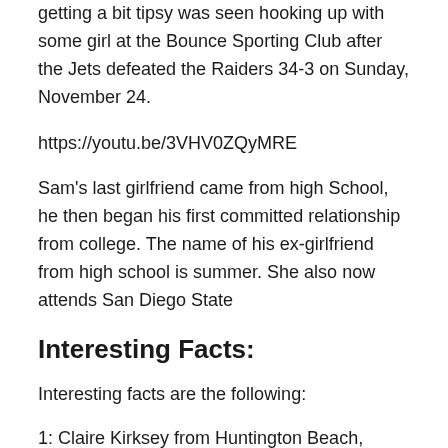getting a bit tipsy was seen hooking up with some girl at the Bounce Sporting Club after the Jets defeated the Raiders 34-3 on Sunday, November 24.
https://youtu.be/3VHV0ZQyMRE
Sam's last girlfriend came from high School, he then began his first committed relationship from college. The name of his ex-girlfriend from high school is summer. She also now attends San Diego State
Interesting Facts:
Interesting facts are the following:
1: Claire Kirksey from Huntington Beach, California was born on May 19, 1997.
2: She is a gorgeous girlfriend of Sam Darnold